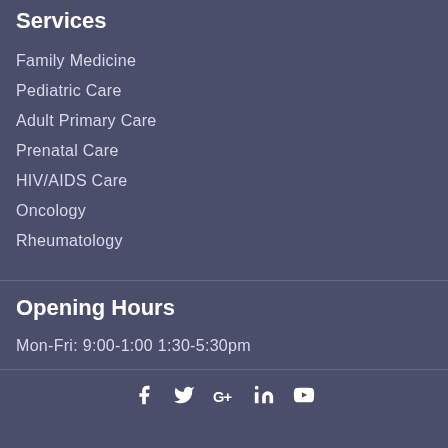Services
Family Medicine
Pediatric Care
Adult Primary Care
Prenatal Care
HIV/AIDS Care
Oncology
Rheumatology
Opening Hours
Mon-Fri: 9:00-1:00 1:30-5:30pm
[Figure (illustration): Social media icons: Facebook, Twitter, Google+, LinkedIn, YouTube]